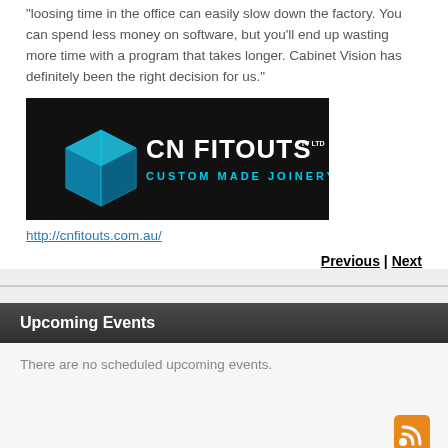"loosing time in the office can easily slow down the factory. You can spend less money on software, but you'll end up wasting more time with a program that takes longer. Cabinet Vision has definitely been the right decision for us."
[Figure (logo): CN Fitouts Pty Ltd logo — black background with blue 3D cube icon on the left, white bold text 'CN FITOUTS' with 'PTY LTD' and cyan subtitle 'CUSTOM MADE JOINERY']
http://cnfitouts.com.au/
Previous | Next
Upcoming Events
There are no scheduled upcoming events.
[Figure (other): RSS feed icon (orange square with white wifi-style symbol)]
Scroll to the Top